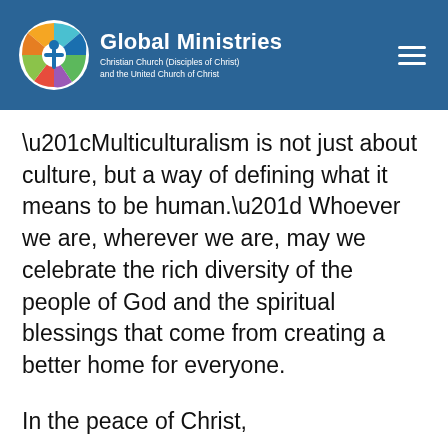Global Ministries — Christian Church (Disciples of Christ) and the United Church of Christ
“Multiculturalism is not just about culture, but a way of defining what it means to be human.” Whoever we are, wherever we are, may we celebrate the rich diversity of the people of God and the spiritual blessings that come from creating a better home for everyone.
In the peace of Christ,
Judy Chan